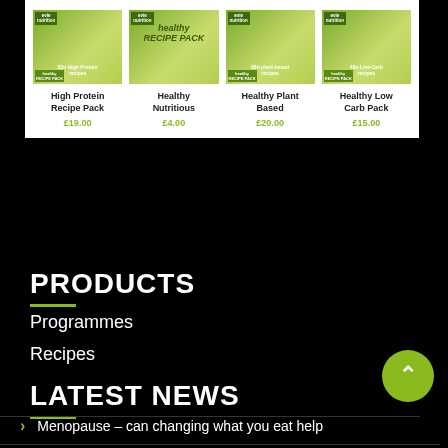[Figure (screenshot): Product cards showing evie nutrition recipe packs: High Protein Recipe Pack £19.00, Healthy Nutritious £4.00, Healthy Plant Based £20.00, Healthy Low Carb Pack £15.00]
PRODUCTS
Programmes
Recipes
LATEST NEWS
Menopause – can changing what you eat help
The Truth About Ultraprocessed Foods in 2021